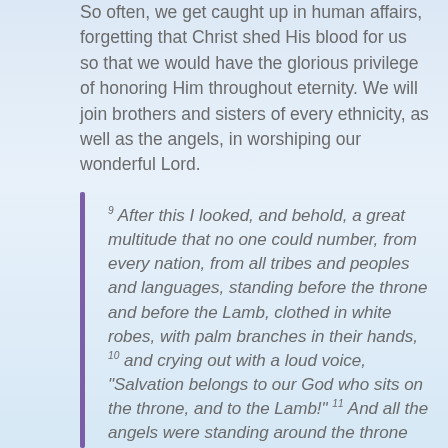So often, we get caught up in human affairs, forgetting that Christ shed His blood for us so that we would have the glorious privilege of honoring Him throughout eternity. We will join brothers and sisters of every ethnicity, as well as the angels, in worshiping our wonderful Lord.
9 After this I looked, and behold, a great multitude that no one could number, from every nation, from all tribes and peoples and languages, standing before the throne and before the Lamb, clothed in white robes, with palm branches in their hands, 10 and crying out with a loud voice, "Salvation belongs to our God who sits on the throne, and to the Lamb!" 11 And all the angels were standing around the throne and around the elders and the four living creatures, and they fell on their faces before